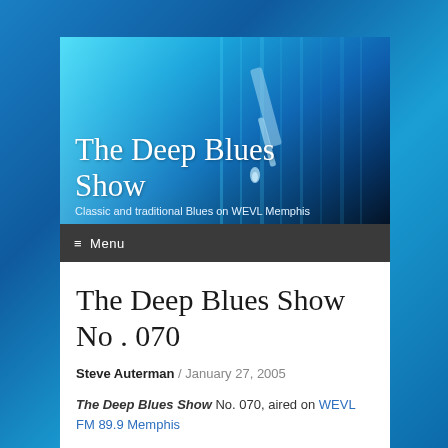[Figure (photo): Header image of The Deep Blues Show website — close-up of a blue-tinted vinyl record player stylus/needle on a record, with the site title and tagline overlaid in white text]
The Deep Blues Show
Classic and traditional Blues on WEVL Memphis
≡ Menu
The Deep Blues Show No . 070
Steve Auterman / January 27, 2005
The Deep Blues Show No. 070, aired on WEVL FM 89.9 Memphis